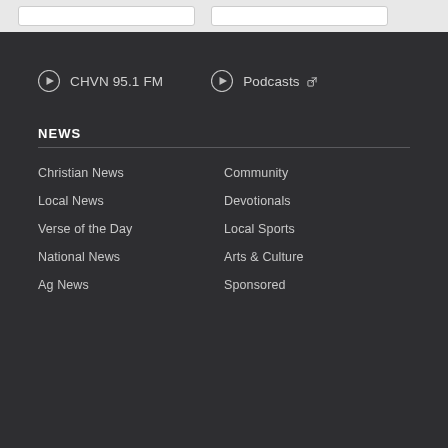CHVN 95.1 FM
Podcasts
NEWS
Christian News
Community
Local News
Devotionals
Verse of the Day
Local Sports
National News
Arts & Culture
Ag News
Sponsored